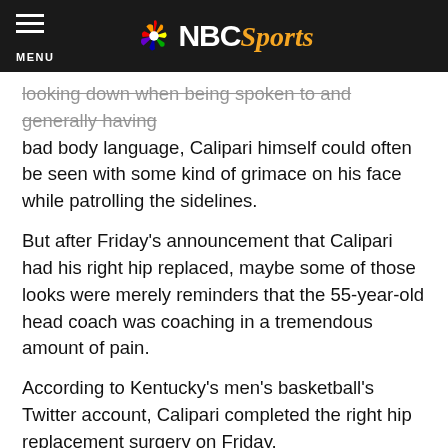NBC Sports
looking down when being spoken to and generally having bad body language, Calipari himself could often be seen with some kind of grimace on his face while patrolling the sidelines.
But after Friday's announcement that Calipari had his right hip replaced, maybe some of those looks were merely reminders that the 55-year-old head coach was coaching in a tremendous amount of pain.
According to Kentucky's men's basketball's Twitter account, Calipari completed the right hip replacement surgery on Friday.
“ .@UKCoachCalipari is out of hip surgery and recovering. All went well. Thank you for the thoughts and prayers for him.